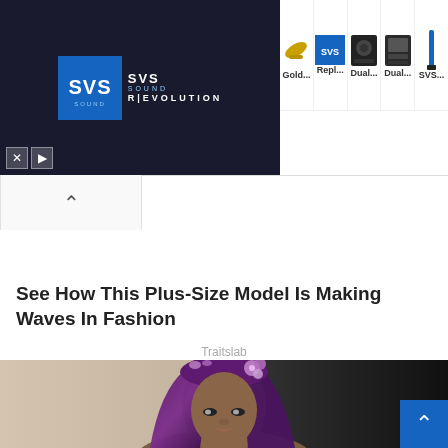[Figure (screenshot): SVS Sound Revolution advertisement banner with logo on dark background and product images (Gold..., Repl..., Dual..., Dual..., SVS...) on white background]
[Figure (screenshot): Scroll-up chevron button in a rounded rectangle tab]
See How This Plus-Size Model Is Making Waves In Fashion
Traitslab
[Figure (photo): Close-up photo of a plus-size model with long purple/dark hair, purple flower hair accessory, wearing makeup, against a light beige and dark background]